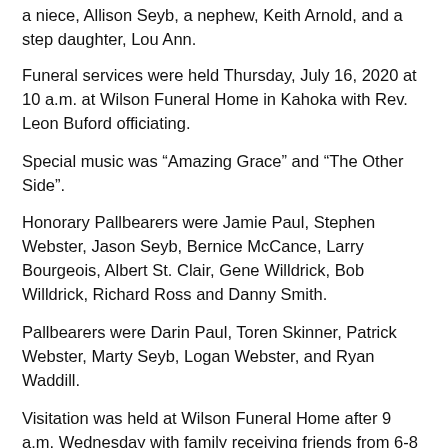a niece, Allison Seyb, a nephew, Keith Arnold, and a step daughter, Lou Ann.
Funeral services were held Thursday, July 16, 2020 at 10 a.m. at Wilson Funeral Home in Kahoka with Rev. Leon Buford officiating.
Special music was “Amazing Grace” and “The Other Side”.
Honorary Pallbearers were Jamie Paul, Stephen Webster, Jason Seyb, Bernice McCance, Larry Bourgeois, Albert St. Clair, Gene Willdrick, Bob Willdrick, Richard Ross and Danny Smith.
Pallbearers were Darin Paul, Toren Skinner, Patrick Webster, Marty Seyb, Logan Webster, and Ryan Waddill.
Visitation was held at Wilson Funeral Home after 9 a.m. Wednesday with family receiving friends from 6-8 p.m.
Burial was in the New Woodville Cemetery south of Wyaconda.
Memorials can be made to the family for Lily’s and Emma’s education, or to the donor’s choice.
Arrangements were handled by Wilson Funeral Home in Kahoka.
On line condolences may be expressed at